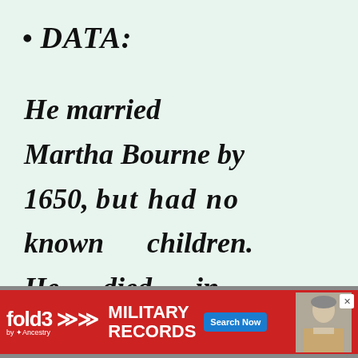DATA:
He married Martha Bourne by 1650, but had no known children. He died in
[Figure (other): Advertisement banner for Fold3 by Ancestry — Military Records, Search Now button, with photo of a soldier]